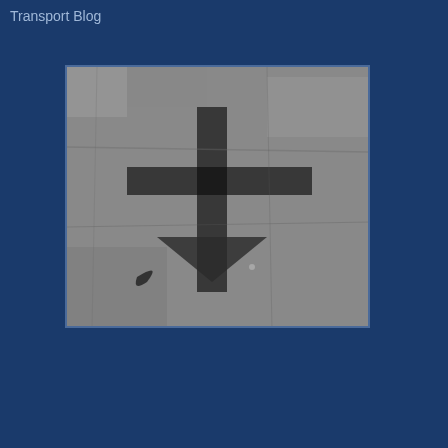Transport Blog
[Figure (photo): A grayscale photograph of a carved stone or metal emblem resembling a cross or symbol with geometric shapes, set against a textured stone background. The image has a dark border frame.]
ernment which had been dominated by